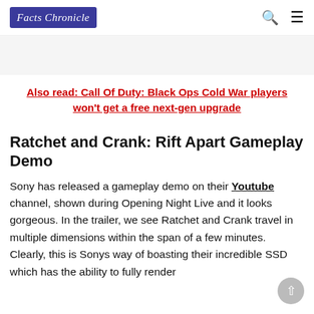Facts Chronicle
Also read: Call Of Duty: Black Ops Cold War players won't get a free next-gen upgrade
Ratchet and Crank: Rift Apart Gameplay Demo
Sony has released a gameplay demo on their Youtube channel, shown during Opening Night Live and it looks gorgeous. In the trailer, we see Ratchet and Crank travel in multiple dimensions within the span of a few minutes. Clearly, this is Sonys way of boasting their incredible SSD which has the ability to fully render